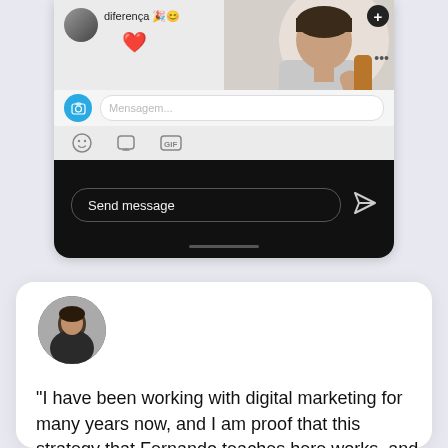[Figure (screenshot): Instagram story screenshot showing a message interface with 'diferença' text, heart reaction, a woman holding a wooden object, camera icon, message input bar, emoji icons, and a dark 'Send message' bar at the bottom.]
[Figure (photo): Circular avatar photo of a man in a black jacket, used as testimonial profile picture.]
"I have been working with digital marketing for many years now, and I am proof that this strategy that Fernando teaches here works, and